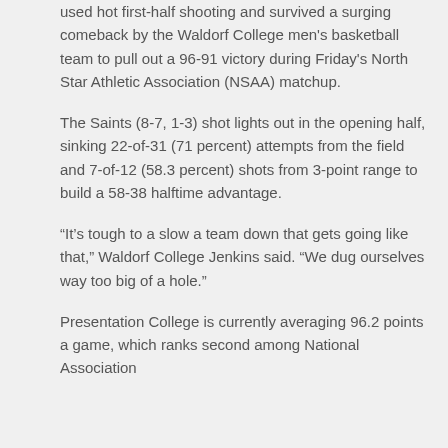used hot first-half shooting and survived a surging comeback by the Waldorf College men's basketball team to pull out a 96-91 victory during Friday's North Star Athletic Association (NSAA) matchup.
The Saints (8-7, 1-3) shot lights out in the opening half, sinking 22-of-31 (71 percent) attempts from the field and 7-of-12 (58.3 percent) shots from 3-point range to build a 58-38 halftime advantage.
“It’s tough to a slow a team down that gets going like that,” Waldorf College Jenkins said. “We dug ourselves way too big of a hole.”
Presentation College is currently averaging 96.2 points a game, which ranks second among National Association